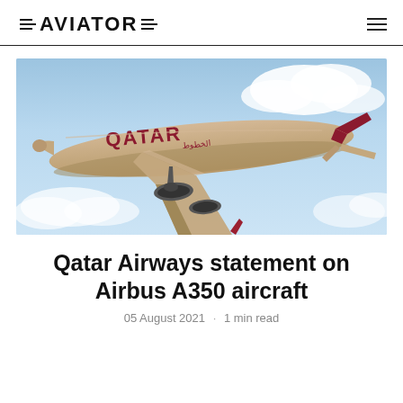=AVIATOR=
[Figure (photo): Qatar Airways Airbus A350 aircraft in flight against a cloudy blue sky, showing the distinctive tan/beige fuselage with red QATAR lettering and maroon tail livery.]
Qatar Airways statement on Airbus A350 aircraft
05 August 2021 · 1 min read